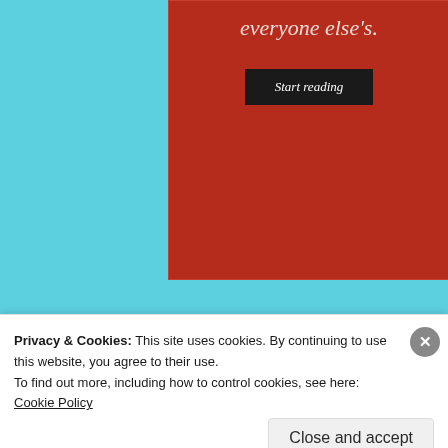[Figure (screenshot): Red banner with italic text 'everyone else's.' and a dark 'Start reading' button on a red background]
Share this:
[Figure (screenshot): Twitter social share button with Twitter bird icon]
[Figure (screenshot): Facebook social share button with Facebook logo icon]
[Figure (screenshot): Like button with blue star icon and text 'Like']
Be the first to like this.
Privacy & Cookies: This site uses cookies. By continuing to use this website, you agree to their use.
To find out more, including how to control cookies, see here: Cookie Policy
[Figure (screenshot): Close and accept button for cookie banner]